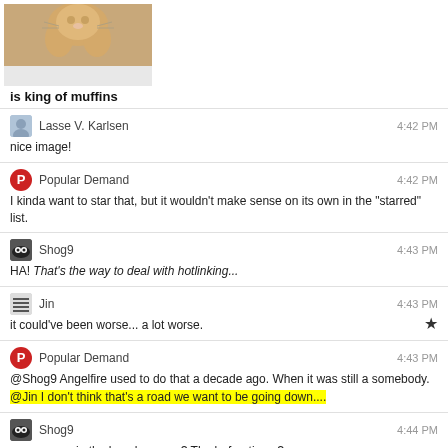[Figure (photo): Meme image of a cat with caption 'is king of muffins']
Lasse V. Karlsen  4:42 PM
nice image!
Popular Demand  4:42 PM
I kinda want to star that, but it wouldn't make sense on its own in the "starred" list.
Shog9  4:43 PM
HA! That's the way to deal with hotlinking...
Jin  4:43 PM
it could've been worse... a lot worse.
Popular Demand  4:43 PM
@Shog9 Angelfire used to do that a decade ago. When it was still a somebody.
@Jin I don't think that's a road we want to be going down....
Shog9  4:44 PM
you mean... in the long long ago? The beforetimes?
Lasse V. Karlsen  4:45 PM